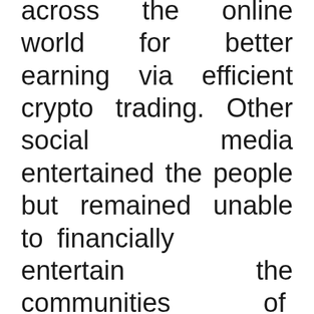across the online world for better earning via efficient crypto trading. Other social media entertained the people but remained unable to financially entertain the communities of different cultures but now DTrade is going to change the scenario by befitting financially as well.
It is important to note that DTrade is the latest and enhanced service introduced by Decoin, which is